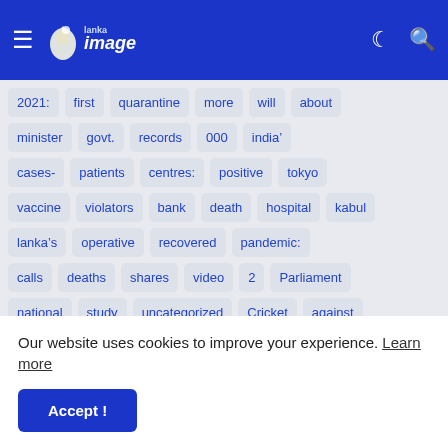Lanka Image - navigation header with hamburger menu, moon icon, search icon
2021: first quarantine more will about
minister govt. records 000 india&#8217;
cases- patients centres: positive tokyo
vaccine violators bank death hospital kabul
lanka&#8217;s operative recovered pandemic:
calls deaths shares video 2 Parliament
national study uncategorized Cricket against
Our website uses cookies to improve your experience. Learn more
Accept !